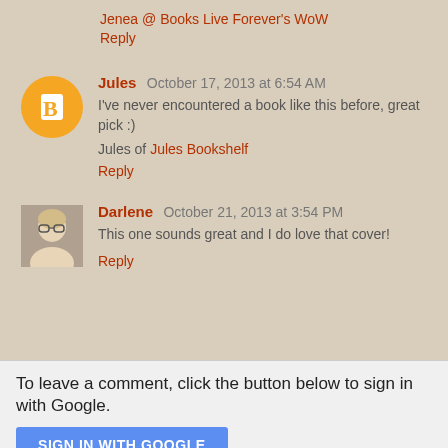Jenea @ Books Live Forever's WoW
Reply
Jules  October 17, 2013 at 6:54 AM
I've never encountered a book like this before, great pick :)
Jules of Jules Bookshelf
Reply
Darlene  October 21, 2013 at 3:54 PM
This one sounds great and I do love that cover!
Reply
To leave a comment, click the button below to sign in with Google.
SIGN IN WITH GOOGLE